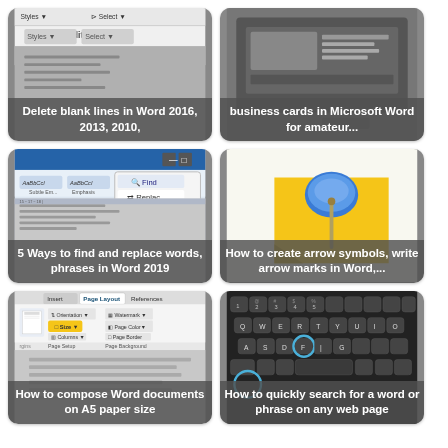[Figure (screenshot): Screenshot of Microsoft Word toolbar with Styles and Select options. Card showing 'Delete blank lines in Word 2016, 2013, 2010,']
[Figure (screenshot): Screenshot of a business card design in Microsoft Word. Card showing 'business cards in Microsoft Word for amateur...']
[Figure (screenshot): Screenshot of Microsoft Word Find and Replace dialog. Card showing '5 Ways to find and replace words, phrases in Word 2019']
[Figure (illustration): Illustration of a blue thumbtack/pin on a yellow sticky note. Card showing 'How to create arrow symbols, write arrow marks in Word,...']
[Figure (screenshot): Screenshot of Microsoft Word Page Layout ribbon with Size button highlighted. Card showing 'How to compose Word documents on A5 paper size']
[Figure (screenshot): Screenshot of a keyboard with the F key highlighted in a blue circle. Card showing 'How to quickly search for a word or phrase on any web page']